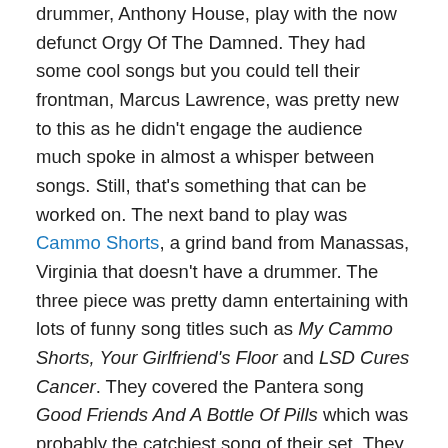drummer, Anthony House, play with the now defunct Orgy Of The Damned. They had some cool songs but you could tell their frontman, Marcus Lawrence, was pretty new to this as he didn't engage the audience much spoke in almost a whisper between songs. Still, that's something that can be worked on. The next band to play was Cammo Shorts, a grind band from Manassas, Virginia that doesn't have a drummer. The three piece was pretty damn entertaining with lots of funny song titles such as My Cammo Shorts, Your Girlfriend's Floor and LSD Cures Cancer. They covered the Pantera song Good Friends And A Bottle Of Pills which was probably the catchiest song of their set. They were good though a real drummer instead of just programmed beats from a laptop would probably fill their sound out more. Still, they were my second favorite of the five bands I saw that night. The next band to play was Acrid, a three piece death/grind band